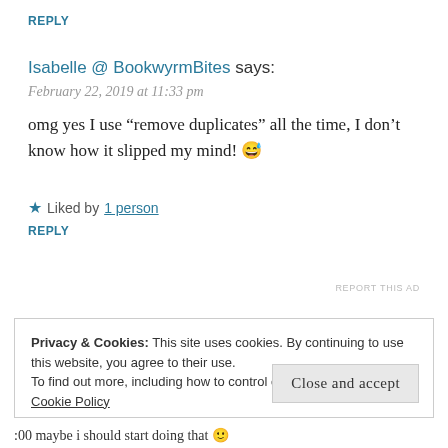REPLY
Isabelle @ BookwyrmBites says:
February 22, 2019 at 11:33 pm
omg yes I use “remove duplicates” all the time, I don’t know how it slipped my mind! 😅
★ Liked by 1 person
REPLY
REPORT THIS AD
Privacy & Cookies: This site uses cookies. By continuing to use this website, you agree to their use.
To find out more, including how to control cookies, see here: Cookie Policy
Close and accept
:00 maybe i should start doing that 🙂